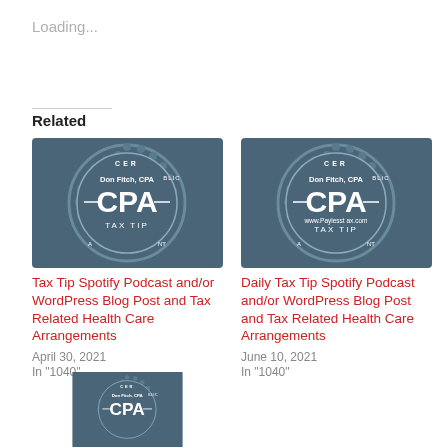Loading...
Related
[Figure (logo): CPA badge/seal — Don Fitch, CPA, TAX TIP, Certified Public Accountant]
Tax Tip Spotify Podcast and/or WordPress Blog Post and Tax Related Health Care Arrangements
April 30, 2021
In "1040"
[Figure (logo): CPA badge/seal — Don Fitch, CPA, www.Payless tax.com, TAX TIP, Certified Public Accountant]
Daily Tax Tip Spotify Podcast and/or WordPress Blog Post and Tax Related Health Care Arrangements
June 10, 2021
In "1040"
[Figure (logo): CPA badge/seal — Don Fitch, CPA, partial view at bottom of page]